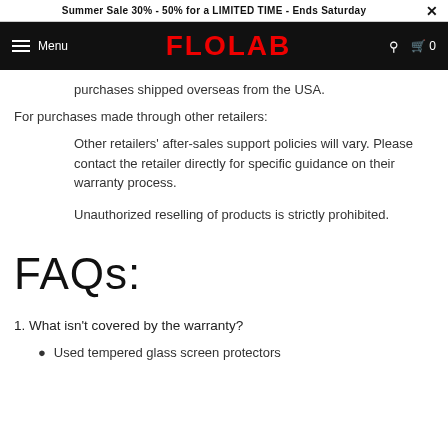Summer Sale 30% - 50% for a LIMITED TIME - Ends Saturday
[Figure (logo): FLOLAB logo with hamburger menu and cart icon on black navigation bar]
purchases shipped overseas from the USA.
For purchases made through other retailers:
Other retailers' after-sales support policies will vary. Please contact the retailer directly for specific guidance on their warranty process.
Unauthorized reselling of products is strictly prohibited.
FAQs:
1. What isn't covered by the warranty?
Used tempered glass screen protectors